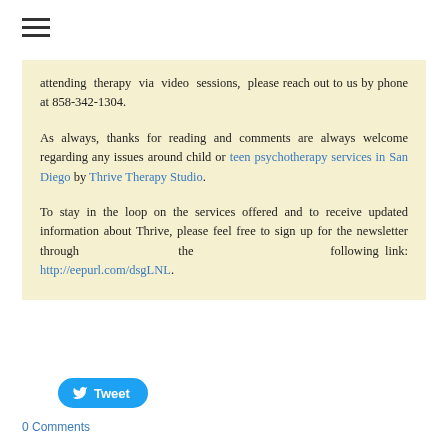[Figure (other): Hamburger menu icon (three horizontal lines) in top-left corner]
attending therapy via video sessions, please reach out to us by phone at 858-342-1304.
As always, thanks for reading and comments are always welcome regarding any issues around child or teen psychotherapy services in San Diego by Thrive Therapy Studio.
To stay in the loop on the services offered and to receive updated information about Thrive, please feel free to sign up for the newsletter through the following link: http://eepurl.com/dsgLNL.
[Figure (other): Twitter Tweet button (blue rounded rectangle with bird icon and 'Tweet' text)]
0 Comments